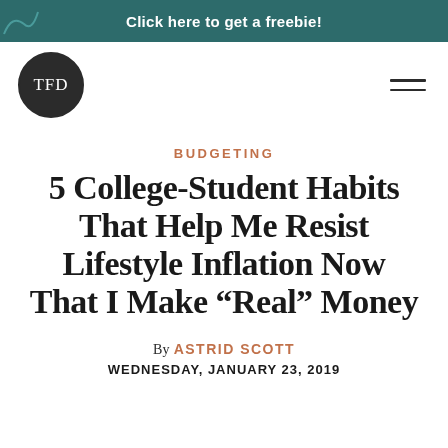Click here to get a freebie!
[Figure (logo): TFD circular logo in dark circle]
BUDGETING
5 College-Student Habits That Help Me Resist Lifestyle Inflation Now That I Make “Real” Money
By ASTRID SCOTT
WEDNESDAY, JANUARY 23, 2019